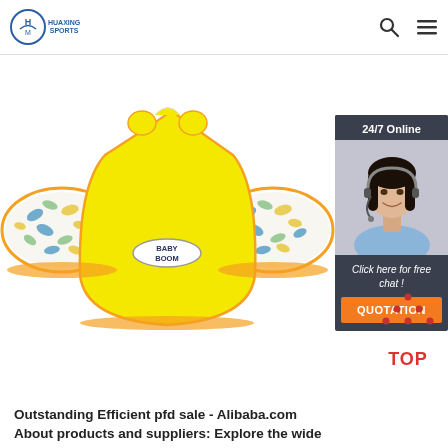HUAXING SPORTS
[Figure (photo): Yellow baby swim vest/life jacket with floral patterned sleeves (blue, green, yellow leaves on white background) with orange trim. Brand label 'BABY BOOM' visible on front. Product shown on white background.]
[Figure (photo): 24/7 Online chat widget showing a smiling woman with headset (customer service agent) with dark hair, wearing light blue shirt. Dark background with text 'Click here for free chat!' and orange QUOTATION button.]
[Figure (illustration): Red/orange TOP button with upward-pointing triangle made of dots above the word TOP in red text.]
Outstanding Efficient pfd sale - Alibaba.com About products and suppliers: Explore the wide